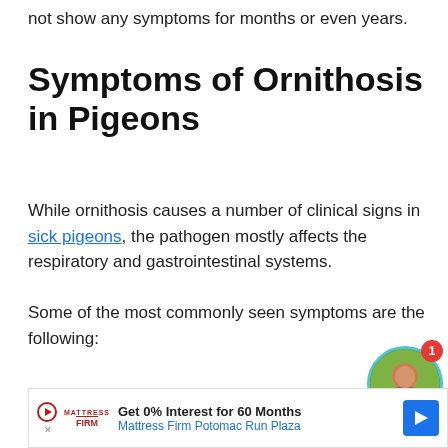not show any symptoms for months or even years.
Symptoms of Ornithosis in Pigeons
While ornithosis causes a number of clinical signs in sick pigeons, the pathogen mostly affects the respiratory and gastrointestinal systems.
Some of the most commonly seen symptoms are the following:
[Figure (other): Chat popup bubble with text 'Want to ask a Veterinarian online now? I can connect you ...' with an avatar photo of a woman and a red notification badge showing '1']
Sinusitis
[Figure (other): Advertisement bar: Mattress Firm logo, text 'Get 0% Interest for 60 Months', 'Mattress Firm Potomac Run Plaza', blue arrow icon]